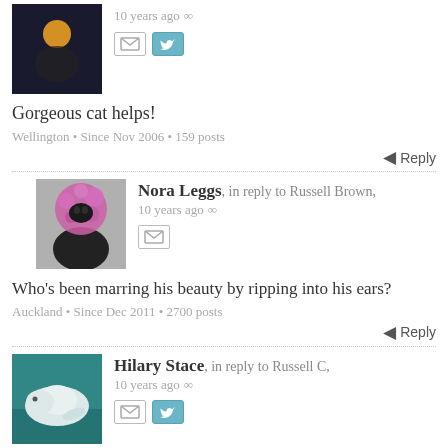[Figure (photo): Dark avatar photo with orange/yellow light in top portion]
10 years ago ∞
[Figure (screenshot): Mail icon and Twitter icon]
Gorgeous cat helps!
Wellington • Since Nov 2006 • 159 posts
Reply
[Figure (photo): Avatar: cat with pink fluffy head — Nora Leggs profile picture]
Nora Leggs, in reply to Russell Brown, 10 years ago ∞
[Figure (screenshot): Mail icon]
Who's been marring his beauty by ripping into his ears?
Auckland • Since Dec 2011 • 2700 posts
Reply
[Figure (photo): Avatar: underwater photo of a manatee or beluga — Hilary Stace profile picture]
Hilary Stace, in reply to Russell C, 10 years ago ∞
[Figure (screenshot): Mail icon and Twitter icon]
Hey, that's my view (minus cat) only you are a little lower. Do you have a current cat? If so it might be one of the many who come and visit my goldfish.